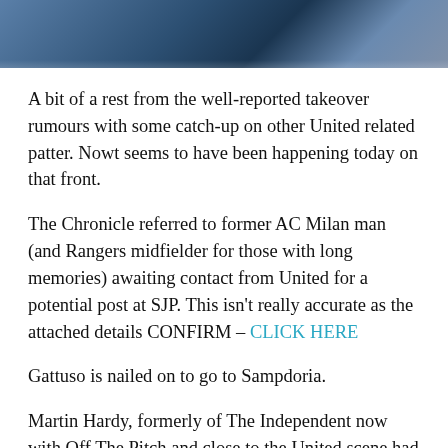[Figure (photo): Partial photo of a man in a suit and tie, cropped to show upper chest and tie area, blue-toned background]
A bit of a rest from the well-reported takeover rumours with some catch-up on other United related patter. Nowt seems to have been happening today on that front.
The Chronicle referred to former AC Milan man (and Rangers midfielder for those with long memories) awaiting contact from United for a potential post at SJP. This isn't really accurate as the attached details CONFIRM – CLICK HERE
Gattuso is nailed on to go to Sampdoria.
Martin Hardy, formerly of The Independent now with Off The Pitch and close to the United scene had a piece putting out that United have committed to spend in...